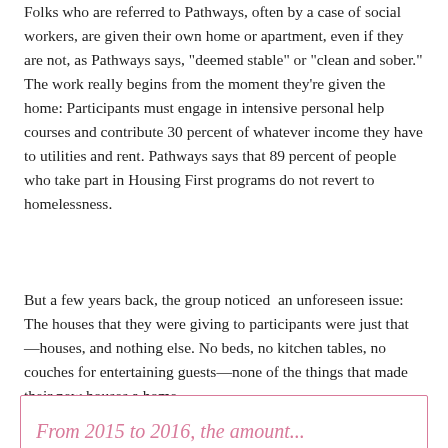Folks who are referred to Pathways, often by a case of social workers, are given their own home or apartment, even if they are not, as Pathways says, "deemed stable" or "clean and sober." The work really begins from the moment they're given the home: Participants must engage in intensive personal help courses and contribute 30 percent of whatever income they have to utilities and rent. Pathways says that 89 percent of people who take part in Housing First programs do not revert to homelessness.
But a few years back, the group noticed  an unforeseen issue: The houses that they were giving to participants were just that—houses, and nothing else. No beds, no kitchen tables, no couches for entertaining guests—none of the things that made their new houses a home.
From 2015 to 2016, the amount...